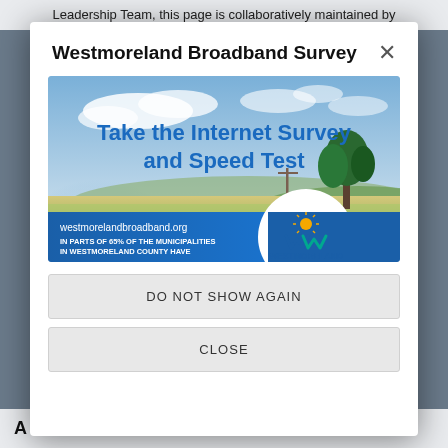Leadership Team, this page is collaboratively maintained by
Westmoreland Broadband Survey
[Figure (screenshot): Advertisement banner for Westmoreland Broadband Survey. Text reads: 'Take the Internet Survey and Speed Test'. Background shows a scenic rural landscape with fields and a tree under a partly cloudy sky. Bottom section has a teal/blue band with text: 'westmorelandbroadband.org' and 'IN PARTS OF 65% OF THE MUNICIPALITIES IN WESTMORELAND COUNTY HAVE'. Right side shows the Westmoreland logo with a stylized 'W' icon and sunburst, text 'WESTMORELAND'.]
DO NOT SHOW AGAIN
CLOSE
A